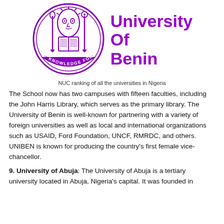[Figure (logo): University of Benin circular seal/crest with purple outline, featuring a face mask at top, a book, and the motto 'KNOWLEDGE FOR SERVICE' at the bottom banner]
University Of Benin
NUC ranking of all the universities in Nigeria
The School now has two campuses with fifteen faculties, including the John Harris Library, which serves as the primary library. The University of Benin is well-known for partnering with a variety of foreign universities as well as local and international organizations such as USAID, Ford Foundation, UNCF, RMRDC, and others. UNIBEN is known for producing the country's first female vice-chancellor.
9. University of Abuja: The University of Abuja is a tertiary university located in Abuja, Nigeria's capital. It was founded in